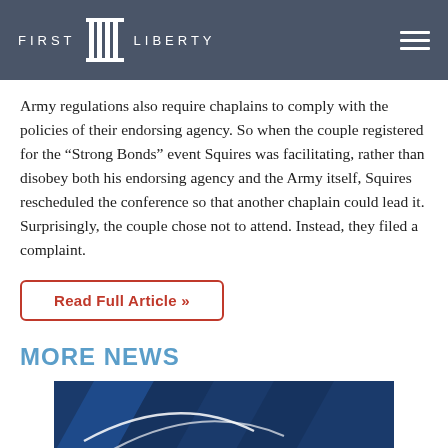FIRST LIBERTY
Army regulations also require chaplains to comply with the policies of their endorsing agency. So when the couple registered for the “Strong Bonds” event Squires was facilitating, rather than disobey both his endorsing agency and the Army itself, Squires rescheduled the conference so that another chaplain could lead it. Surprisingly, the couple chose not to attend. Instead, they filed a complaint.
Read Full Article »
MORE NEWS
[Figure (photo): Partial thumbnail image showing a dark blue abstract graphic with diagonal lines, likely a news article thumbnail]